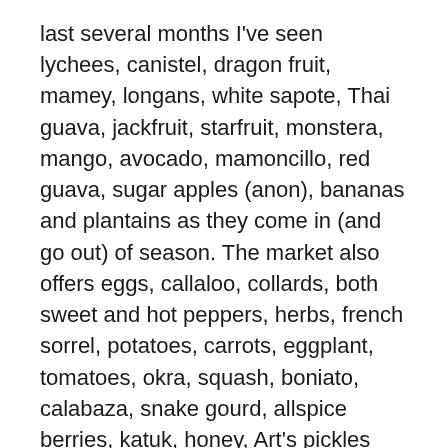last several months I've seen lychees, canistel, dragon fruit, mamey, longans, white sapote, Thai guava, jackfruit, starfruit, monstera, mango, avocado, mamoncillo, red guava, sugar apples (anon), bananas and plantains as they come in (and go out) of season. The market also offers eggs, callaloo, collards, both sweet and hot peppers, herbs, french sorrel, potatoes, carrots, eggplant, tomatoes, okra, squash, boniato, calabaza, snake gourd, allspice berries, katuk, honey, Art's pickles and whatever else is available. You won't go hungry in the summer!
Market manager Art Friendrich (or his assistant Olga Gomez) makes rounds of dozens of small local farmers and gardens every week, gathering produce for the market. Everything is fresh, and some picked to order. And everything is labeled clearly if it is organic or pesticide free, sustainably or conventionally grown, and which farm